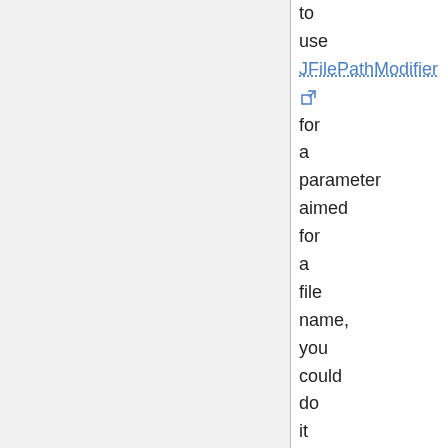to use JFilePathModifier for a parameter aimed for a file name, you could do it like this: